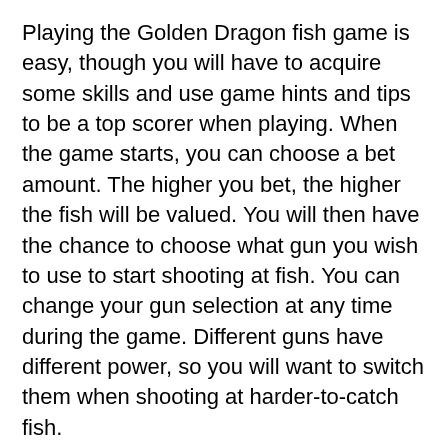Playing the Golden Dragon fish game is easy, though you will have to acquire some skills and use game hints and tips to be a top scorer when playing. When the game starts, you can choose a bet amount. The higher you bet, the higher the fish will be valued. You will then have the chance to choose what gun you wish to use to start shooting at fish. You can change your gun selection at any time during the game. Different guns have different power, so you will want to switch them when shooting at harder-to-catch fish.
Once you have selected your weapon, you will simply aim at fish on the screen. Once your shot is lined up, shoot and try to kill as many fish as possible to earn points. Fish will move at different speeds and will be different sizes, so you will have to aim with the skill to make sure you are hitting the best targets.
As you kill off fish and collect points, you will advance in difficulty levels. Each level will bring more fish on the screen, and you will start to see boss characters. These